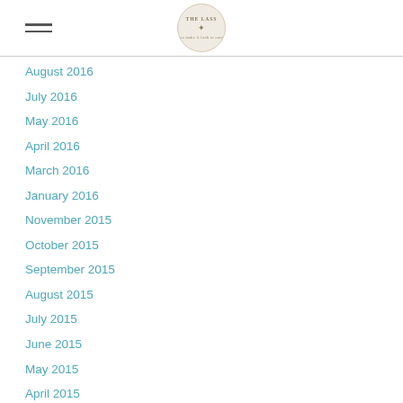THE LASS [logo]
August 2016
July 2016
May 2016
April 2016
March 2016
January 2016
November 2015
October 2015
September 2015
August 2015
July 2015
June 2015
May 2015
April 2015
March 2015
February 2015
January 2015